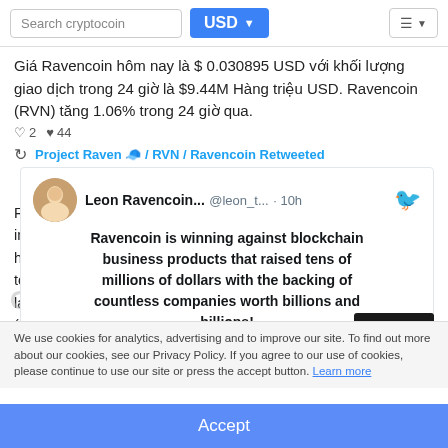Search cryptocoin | USD | (menu)
Giá Ravencoin hôm nay là $ 0.030895 USD với khối lượng giao dịch trong 24 giờ là $9.44M Hàng triệu USD. Ravencoin (RVN) tăng 1.06% trong 24 giờ qua.
♡ 2  ♡ 44
🔁 Project Raven 🧢 / RVN / Ravencoin Retweeted
[Figure (screenshot): Tweet from Leon Ravencoin... @leon_t... · 10h with Twitter bird icon. Tweet text: Ravencoin is winning against blockchain business products that raised tens of millions of dollars with the backing of countless companies worth billions and billions! It's true! Ravencoin is winning without an ICO, pre-mine or even a CEO. Ravencoin is code & you & I. Fuck yeah!]
Giới Thiệu
Ravencoin is a digital peer to peer network that aims to implement a use case specific blockchain, designed to efficiently handle one specific function: the transfer of assets from one party to another. Built on a fork of the Bitcoin code, Ravencoin was launched January 3rd, 2018, and is a truly open source project (no ICO or masternodes). It focuses on building a useful technology, with a strong and growing community.
We use cookies for analytics, advertising and to improve our site. To find out more about our cookies, see our Privacy Policy. If you agree to our use of cookies, please continue to use our site or press the accept button. Learn more
Accept